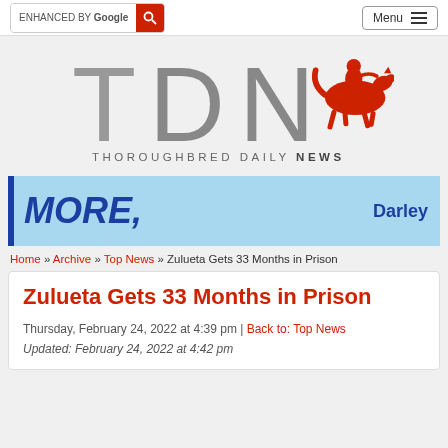[Figure (screenshot): Navigation bar with Google search box and Menu button]
[Figure (logo): TDN Thoroughbred Daily News logo with large TDN letters in gray and a red jockey on horse silhouette]
[Figure (infographic): Advertisement banner with light blue background, dark blue left border, bold italic MORE, text and Darley brand name]
Home » Archive » Top News » Zulueta Gets 33 Months in Prison
Zulueta Gets 33 Months in Prison
Thursday, February 24, 2022 at 4:39 pm | Back to: Top News
Updated: February 24, 2022 at 4:42 pm